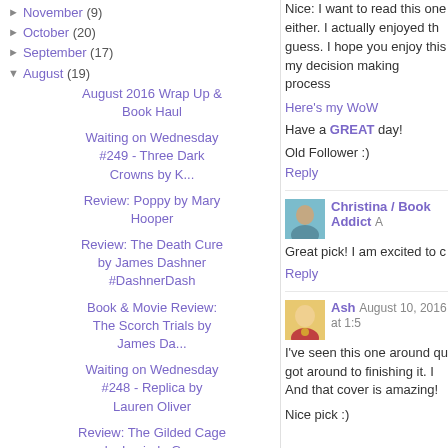► November (9)
► October (20)
► September (17)
▼ August (19)
August 2016 Wrap Up & Book Haul
Waiting on Wednesday #249 - Three Dark Crowns by K...
Review: Poppy by Mary Hooper
Review: The Death Cure by James Dashner #DashnerDash
Book & Movie Review: The Scorch Trials by James Da...
Waiting on Wednesday #248 - Replica by Lauren Oliver
Review: The Gilded Cage by Lucinda Gray
Top Ten Tuesday: Ten Books That Have Been
Nice: I want to read this one either. I actually enjoyed the guess. I hope you enjoy this my decision making process
Here's my WoW
Have a GREAT day!
Old Follower :)
Reply
Christina / Book Addict A
Great pick! I am excited to c
Reply
Ash August 10, 2016 at 1:5
I've seen this one around qu got around to finishing it. I And that cover is amazing!
Nice pick :)